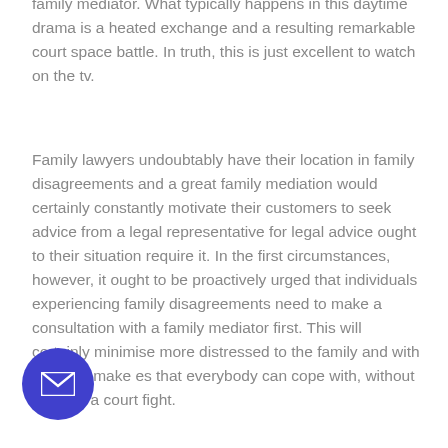family mediator. What typically happens in this daytime drama is a heated exchange and a resulting remarkable court space battle. In truth, this is just excellent to watch on the tv.
Family lawyers undoubtably have their location in family disagreements and a great family mediation would certainly constantly motivate their customers to seek advice from a legal representative for legal advice ought to their situation require it. In the first circumstances, however, it ought to be proactively urged that individuals experiencing family disagreements need to make a consultation with a family mediator first. This will certainly minimise more distressed to the family and with any luck make es that everybody can cope with, without o go via a court fight.
[Figure (other): Purple circular email contact button with envelope icon]